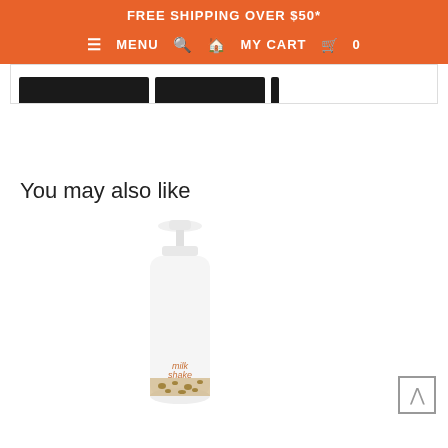FREE SHIPPING OVER $50*
≡ MENU  🔍  🏠  MY CART  🛒  0
You may also like
[Figure (photo): White pump bottle of milk_shake hair product with animal print label at the bottom, partially cropped at page edge]